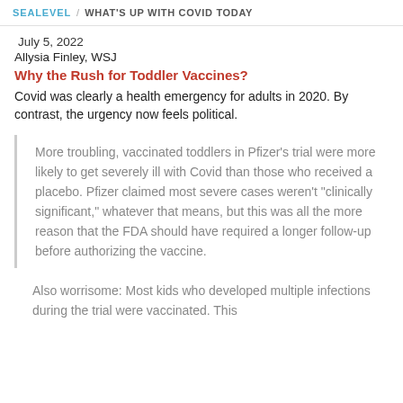SEALEVEL / WHAT'S UP WITH COVID TODAY
July 5, 2022
Allysia Finley, WSJ
Why the Rush for Toddler Vaccines?
Covid was clearly a health emergency for adults in 2020. By contrast, the urgency now feels political.
More troubling, vaccinated toddlers in Pfizer’s trial were more likely to get severely ill with Covid than those who received a placebo. Pfizer claimed most severe cases weren’t “clinically significant,” whatever that means, but this was all the more reason that the FDA should have required a longer follow-up before authorizing the vaccine.
Also worrisome: Most kids who developed multiple infections during the trial were vaccinated. This